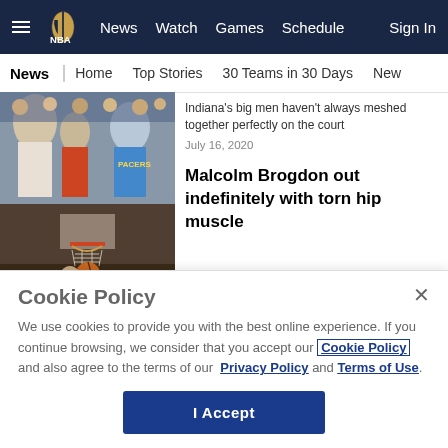NBA — News | Watch | Games | Schedule | Sign In
News | Home | Top Stories | 30 Teams in 30 Days | New
Indiana's big men haven't always meshed together perfectly on the court
July 16, 2020
[Figure (photo): Two stacked basketball game photos — top: Pacers players crowd scene, bottom: basketball player dunking]
Malcolm Brogdon out indefinitely with torn hip muscle
March 8, 2020
Cookie Policy
We use cookies to provide you with the best online experience. If you continue browsing, we consider that you accept our Cookie Policy and also agree to the terms of our Privacy Policy and Terms of Use.
I Accept